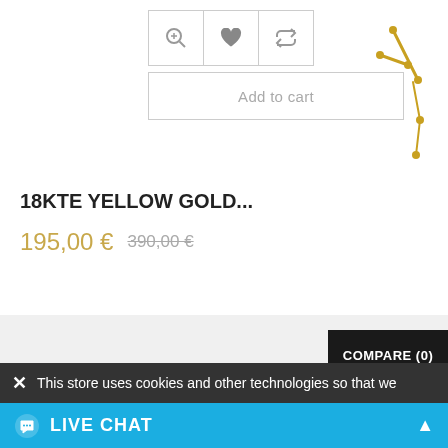[Figure (screenshot): E-commerce product page showing action buttons (zoom, wishlist, compare), Add to cart button, a gold cross jewelry item, product title, pricing, compare bar, cookie consent bar, and live chat bar.]
18KTE YELLOW GOLD...
195,00 € 390,00 €
COMPARE (0)
This store uses cookies and other technologies so that we
LIVE CHAT